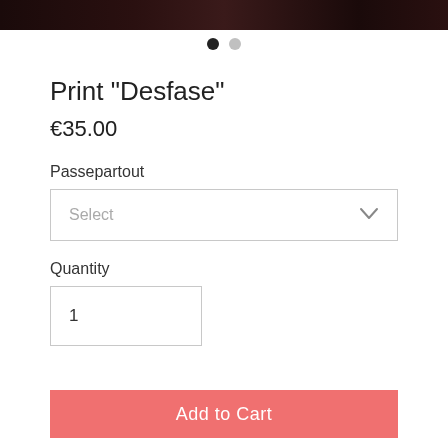[Figure (photo): Dark product photo strip at top of page showing a dimly lit scene]
[Figure (infographic): Two pagination dots: one filled black, one gray]
Print "Desfase"
€35.00
Passepartout
Select
Quantity
1
Add to Cart